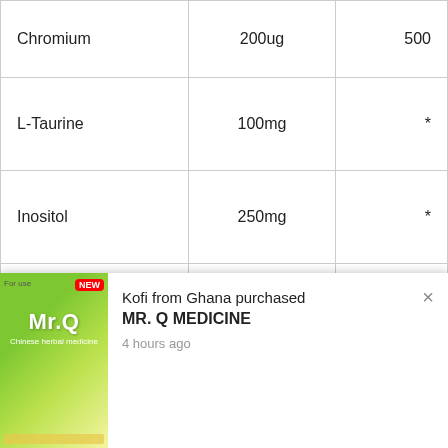| Ingredient | Amount | %DV |
| --- | --- | --- |
| Chromium | 200ug | 500 |
| L-Taurine | 100mg | * |
| Inositol | 250mg | * |
| Red Rice Yeast | 400mg | * |
| Gugulipid Extract** (3:1) |  |  |
| Gugulipid | 200mg | * |
[Figure (screenshot): Popup notification: 'Kofi from Ghana purchased MR. Q MEDICINE 4 hours ago' with product image of Mr.Q brand supplement with green label]